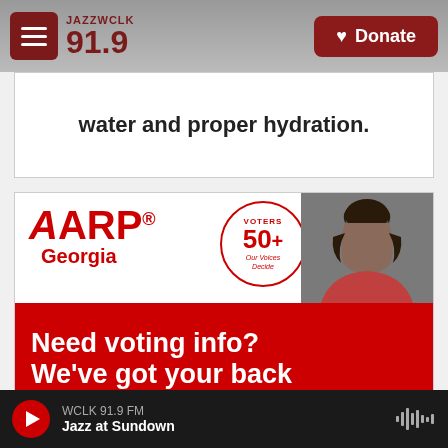JAZZ WCLK 91.9 | Donate
water and proper hydration.
[Figure (infographic): AARP Georgia advertisement with 'VOTERS 50+ Our Voices Decide' circle badge, photo of a woman, and text 'Need voting info? We've got your back' on red background]
WCLK 91.9 FM | Jazz at Sundown